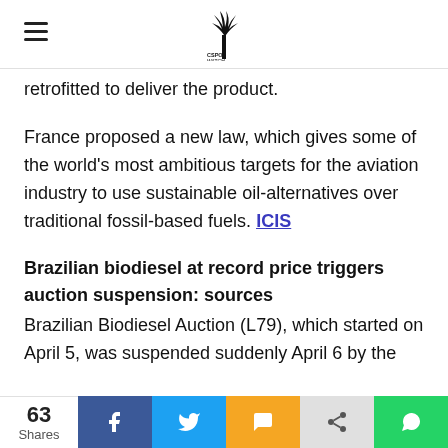CSPO Watch logo and navigation
retrofitted to deliver the product.
France proposed a new law, which gives some of the world's most ambitious targets for the aviation industry to use sustainable oil-alternatives over traditional fossil-based fuels. ICIS
Brazilian biodiesel at record price triggers auction suspension: sources
Brazilian Biodiesel Auction (L79), which started on April 5, was suspended suddenly April 6 by the
63 Shares | Share buttons: Facebook, Twitter, SMS, Share, WhatsApp